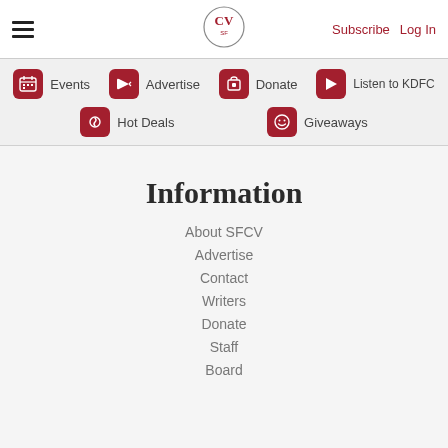Subscribe  Log In
Events
Advertise
Donate
Listen to KDFC
Hot Deals
Giveaways
Information
About SFCV
Advertise
Contact
Writers
Donate
Staff
Board